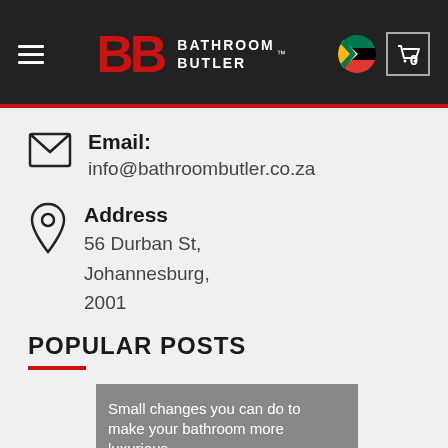Bathroom Butler
Email: info@bathroombutler.co.za
Address
56 Durban St,
Johannesburg,
2001
POPULAR POSTS
[Figure (photo): Thumbnail image with caption: Small changes you can do to make your bathroom more luxurious]